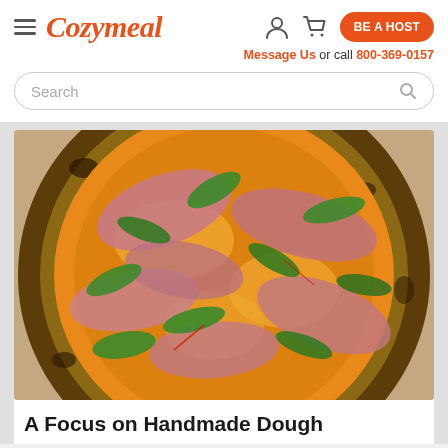Cozymeal — BE A HOST — Message Us or call 800-369-0157
Search
[Figure (photo): Close-up photo of a wood-fired pizza with prosciutto and mixed greens/arugula on a golden cheesy base with charred crust on wooden surface]
A Focus on Handmade Dough